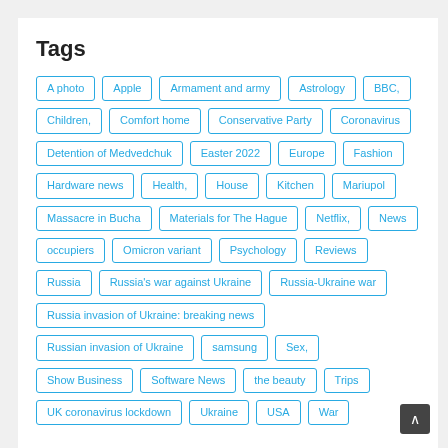Tags
A photo
Apple
Armament and army
Astrology
BBC,
Children,
Comfort home
Conservative Party
Coronavirus
Detention of Medvedchuk
Easter 2022
Europe
Fashion
Hardware news
Health,
House
Kitchen
Mariupol
Massacre in Bucha
Materials for The Hague
Netflix,
News
occupiers
Omicron variant
Psychology
Reviews
Russia
Russia's war against Ukraine
Russia-Ukraine war
Russia invasion of Ukraine: breaking news
Russian invasion of Ukraine
samsung
Sex,
Show Business
Software News
the beauty
Trips
UK coronavirus lockdown
Ukraine
USA
War